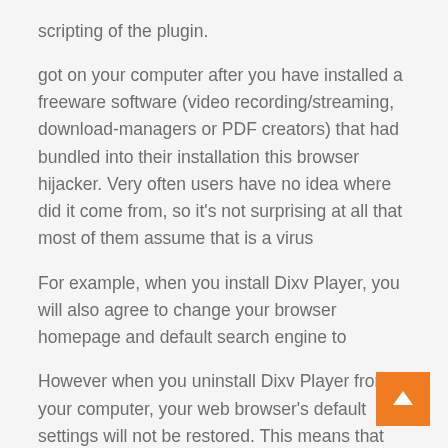scripting of the plugin. got on your computer after you have installed a freeware software (video recording/streaming, download-managers or PDF creators) that had bundled into their installation this browser hijacker. Very often users have no idea where did it come from, so it's not surprising at all that most of them assume that is a virus For example, when you install Dixv Player, you will also agree to change your browser homepage and default search engine to However when you uninstall Dixv Player from your computer, your web browser's default settings will not be restored. This means that you'll have to remove from your favorite web browser manually. You should always pay attention when installing software because often, a software installer includes optional installs, such as this browser